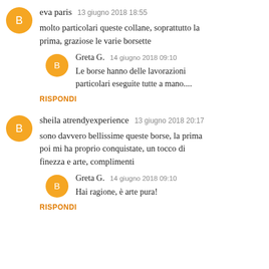eva paris  13 giugno 2018 18:55
molto particolari queste collane, soprattutto la prima, graziose le varie borsette
Greta G.  14 giugno 2018 09:10
Le borse hanno delle lavorazioni particolari eseguite tutte a mano....
RISPONDI
sheila atrendyexperience  13 giugno 2018 20:17
sono davvero bellissime queste borse, la prima poi mi ha proprio conquistate, un tocco di finezza e arte, complimenti
Greta G.  14 giugno 2018 09:10
Hai ragione, è arte pura!
RISPONDI